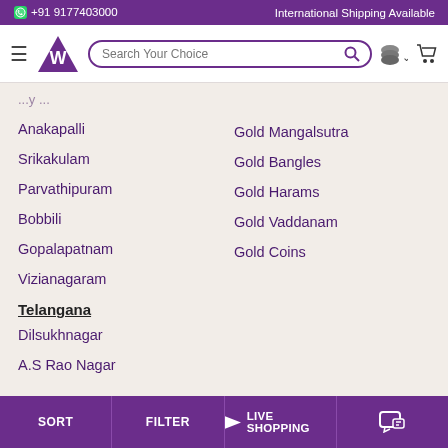+91 9177403000 | International Shipping Available
[Figure (screenshot): Navigation bar with hamburger menu, logo (triangle with W), search bar 'Search Your Choice', currency/coins icon, and cart icon]
Anakapalli
Srikakulam
Parvathipuram
Bobbili
Gopalapatnam
Vizianagaram
Telangana
Dilsukhnagar
A.S Rao Nagar
Gold Mangalsutra
Gold Bangles
Gold Harams
Gold Vaddanam
Gold Coins
SORT | FILTER | LIVE SHOPPING | chat